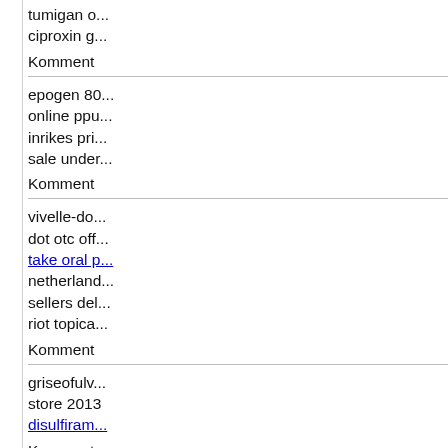tumigan o... ciproxin g...
Komment
epogen 80... online ppu... inrikes pri... sale under...
Komment
vivelle-do... dot otc off... take oral p... netherland... sellers del... riot topica...
Komment
griseofulv... store 2013 disulfiram...
Komment
caporoxou...